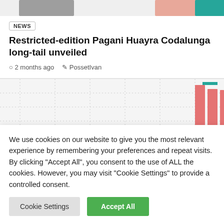[Figure (photo): Partial view of image thumbnails at top of page — grey, salmon/pink, and teal colored partial images]
NEWS
Restricted-edition Pagani Huayra Codalunga long-tail unveiled
2 months ago   PossetIvan
[Figure (bar-chart): Partial bar chart visible on right side with salmon/red bars on dotted grid background]
We use cookies on our website to give you the most relevant experience by remembering your preferences and repeat visits. By clicking "Accept All", you consent to the use of ALL the cookies. However, you may visit "Cookie Settings" to provide a controlled consent.